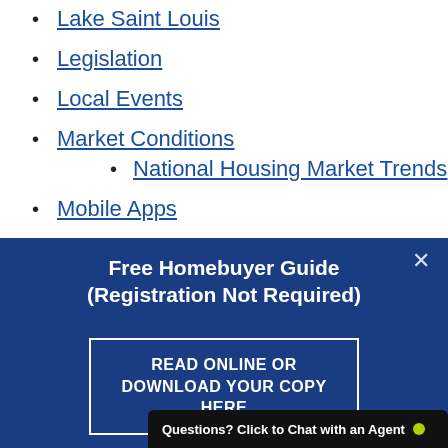Lake Saint Louis
Legislation
Local Events
Market Conditions
National Housing Market Trends
Mobile Apps
Mortgages and Credit
[Figure (screenshot): Dark blue promotional banner overlay with title 'Free Homebuyer Guide (Registration Not Required)', a button labeled 'READ ONLINE OR DOWNLOAD YOUR COPY HERE', a close X button, and a chat bar at the bottom reading 'Questions? Click to Chat with an Agent' with a green dot.]